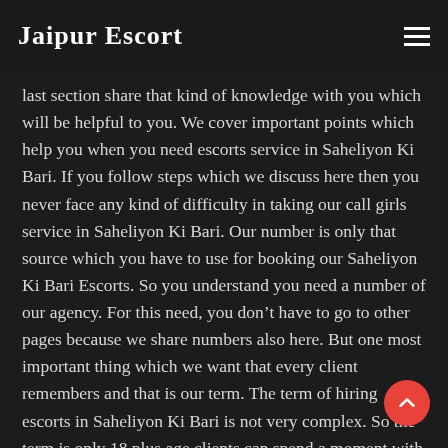Jaipur Escort
last section share that kind of knowledge with you which will be helpful to you. We cover important points which help you when you need escorts service in Saheliyon Ki Bari. If you follow steps which we discuss here then you never face any kind of difficulty in taking our call girls service in Saheliyon Ki Bari. Our number is only that source which you have to use for booking our Saheliyon Ki Bari Escorts. So you understand you need a number of our agency. For this need, you don't have to go to other pages because we share numbers also here. But one most important thing which we want that every client remembers and that is our term. The term of hiring escorts in Saheliyon Ki Bari is not very complex. So the term is only 18 plus age clients can spend a moment with our escorts.